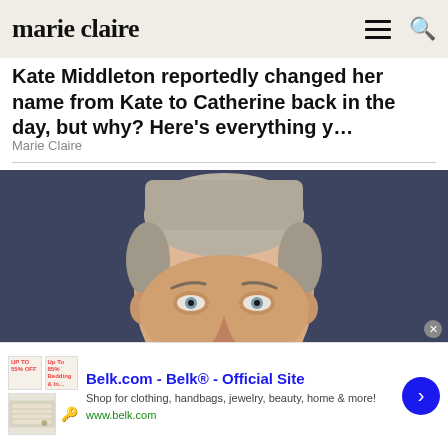marie claire
Kate Middleton reportedly changed her name from Kate to Catherine back in the day, but why? Here's everything y…
Marie Claire
[Figure (photo): Close-up portrait photo of a man with short blond/grey hair and blue eyes against a dark blue background, looking intently at the camera]
Belk.com - Belk® - Official Site
Shop for clothing, handbags, jewelry, beauty, home & more!
www.belk.com